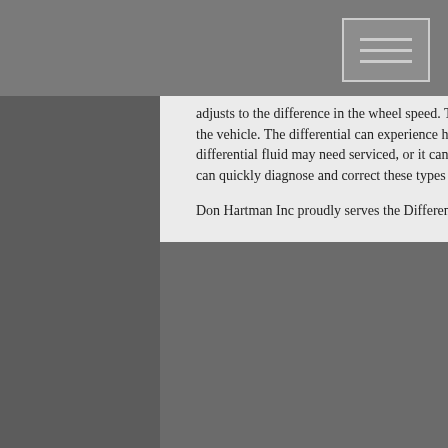adjusts to the difference in the wheel speed. The differential allows the wheels to turn at different speeds while maintaining control of the vehicle. The differential can experience heavy wear and tear. Noise coming from the differential can be a signal that your differential fluid may need serviced, or it can be a sign of worn gears and/or bearing due to regular wear and tear. Don Hartman Inc can quickly diagnose and correct these types of issues.
Don Hartman Inc proudly serves the Differential Repair needs of customers in Canal Winchester, OH.